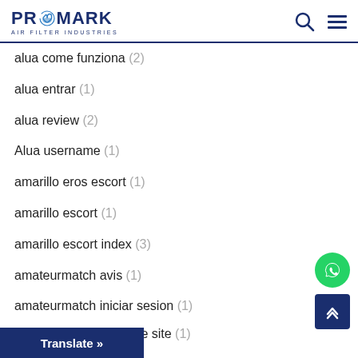PROMARK AIR FILTER INDUSTRIES
alua come funziona (2)
alua entrar (1)
alua review (2)
Alua username (1)
amarillo eros escort (1)
amarillo escort (1)
amarillo escort index (3)
amateurmatch avis (1)
amateurmatch iniciar sesion (1)